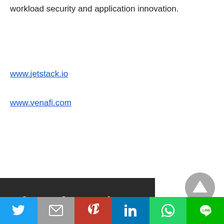workload security and application innovation.
www.jetstack.io
www.venafi.com
[Figure (photo): Dark background image strip with partial text 'dreams don't work' in white serif font]
[Figure (other): Gray circular scroll-to-top button with upward triangle arrow]
Social sharing bar with Twitter, Gmail, Pinterest, LinkedIn, WhatsApp, Line buttons